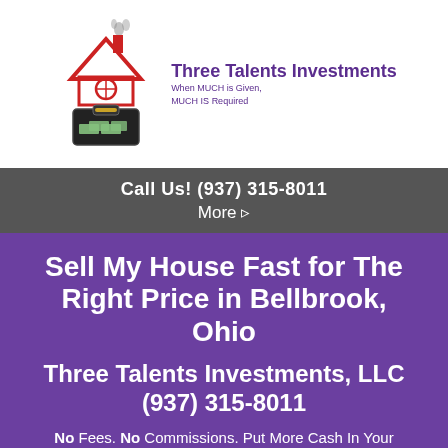[Figure (logo): Three Talents Investments logo: red house outline with chimney smoke and briefcase with money, beside purple company name and tagline 'When MUCH is Given, MUCH IS Required']
Call Us! (937) 315-8011
More ▸
Sell My House Fast for The Right Price in Bellbrook, Ohio
Three Talents Investments, LLC (937) 315-8011
No Fees. No Commissions. Put More Cash In Your Pocket.
You'll Get A Fair Offer – You Choose The